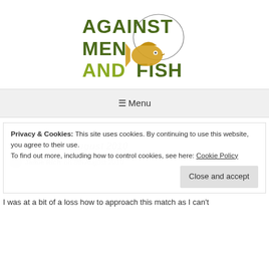[Figure (logo): Against Men and Fish logo with green bold text and golden fish illustration with fishing line]
≡ Menu
Dillington Pond – Summer League – 8th August 2010
Jamie Rich on 8th August 2010
Privacy & Cookies: This site uses cookies. By continuing to use this website, you agree to their use. To find out more, including how to control cookies, see here: Cookie Policy
I was at a bit of a loss how to approach this match as I can't